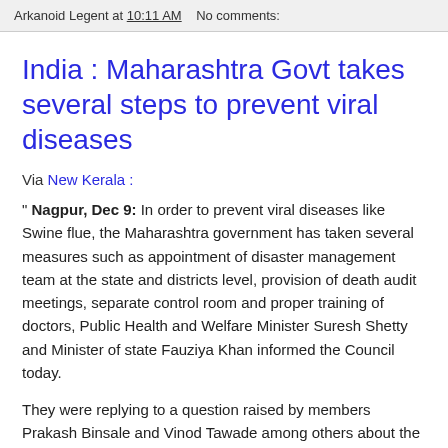Arkanoid Legent at 10:11 AM   No comments:
India : Maharashtra Govt takes several steps to prevent viral diseases
Via New Kerala :
" Nagpur, Dec 9: In order to prevent viral diseases like Swine flue, the Maharashtra government has taken several measures such as appointment of disaster management team at the state and districts level, provision of death audit meetings, separate control room and proper training of doctors, Public Health and Welfare Minister Suresh Shetty and Minister of state Fauziya Khan informed the Council today.
They were replying to a question raised by members Prakash Binsale and Vinod Tawade among others about the deaths due to viral diseases.
While admitting the written information on the topic in the